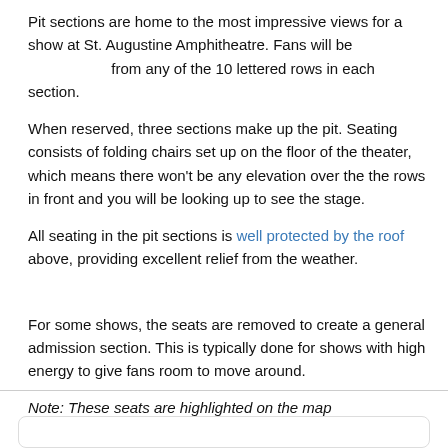Pit sections are home to the most impressive views for a show at St. Augustine Amphitheatre. Fans will be from any of the 10 lettered rows in each section.
When reserved, three sections make up the pit. Seating consists of folding chairs set up on the floor of the theater, which means there won't be any elevation over the the rows in front and you will be looking up to see the stage.
All seating in the pit sections is well protected by the roof above, providing excellent relief from the weather.
For some shows, the seats are removed to create a general admission section. This is typically done for shows with high energy to give fans room to move around.
Note: These seats are highlighted on the map